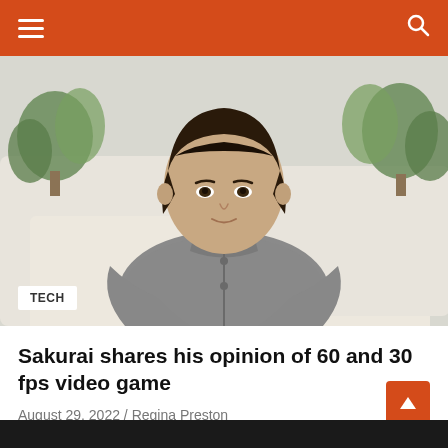Navigation bar with hamburger menu and search icon
[Figure (photo): Japanese man with dark hair sitting on a cream-colored sofa wearing a gray button-up shirt, with green plants visible in the background. A white 'TECH' badge label is overlaid in the bottom-left of the image.]
Sakurai shares his opinion of 60 and 30 fps video game
August 29, 2022 / Regina Preston
Dark bottom bar